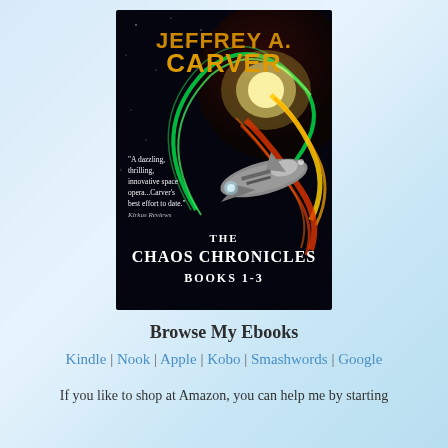[Figure (illustration): Book cover for 'The Chaos Chronicles Books 1-3' by Jeffrey A. Carver. Dark space background with colorful energy swirls in red, green, and yellow/white. A spaceship in the center. Author name in large gold/orange letters at top. Quote from Kirkus Reviews. Series title in white text at bottom.]
Browse My Ebooks
Kindle | Nook | Apple | Kobo | Smashwords | Google
If you like to shop at Amazon, you can help me by starting